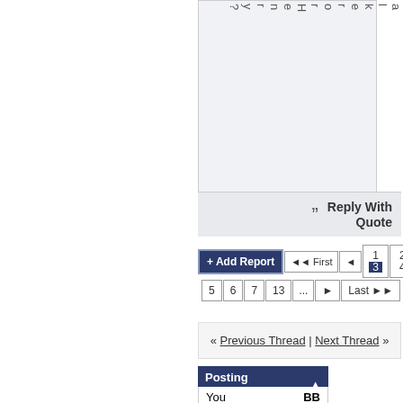[Figure (screenshot): Forum post content area, light gray background]
a l k e r o r H e n r y ?
Reply With Quote
+ Add Report  «« First  ‹  1 2 3 4  5 6 7 13 ...  ›  Last »»
« Previous Thread | Next Thread »
Posting Limitations
You  BB